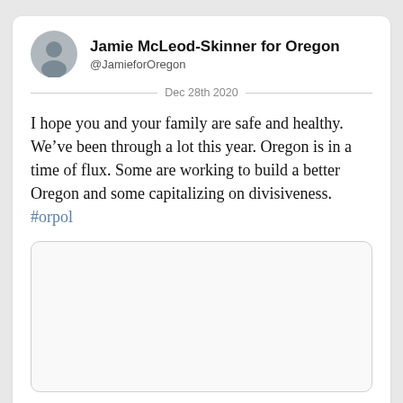Jamie McLeod-Skinner for Oregon
@JamieforOregon
Dec 28th 2020
I hope you and your family are safe and healthy. We’ve been through a lot this year. Oregon is in a time of flux. Some are working to build a better Oregon and some capitalizing on divisiveness. #orpol
[Figure (other): Embedded media box (blank/white rectangle)]
Read 12 tweets